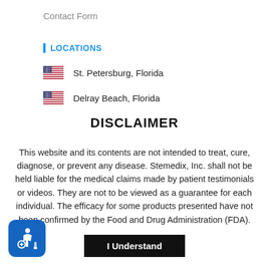Contact Form
LOCATIONS
St. Petersburg, Florida
Delray Beach, Florida
DISCLAIMER
This website and its contents are not intended to treat, cure, diagnose, or prevent any disease. Stemedix, Inc. shall not be held liable for the medical claims made by patient testimonials or videos. They are not to be viewed as a guarantee for each individual. The efficacy for some products presented have not been confirmed by the Food and Drug Administration (FDA).
I Understand